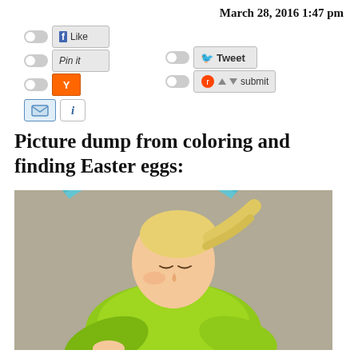March 28, 2016 1:47 pm
[Figure (screenshot): Social sharing buttons bar: Facebook Like, Pinterest Pin it, Hacker News Y, Tweet, Reddit submit, email envelope button, info button]
Picture dump from coloring and finding Easter eggs:
[Figure (photo): A young blonde child wearing a bright green shirt, leaning forward and looking down, with a blue stained-glass arc visible in the background]